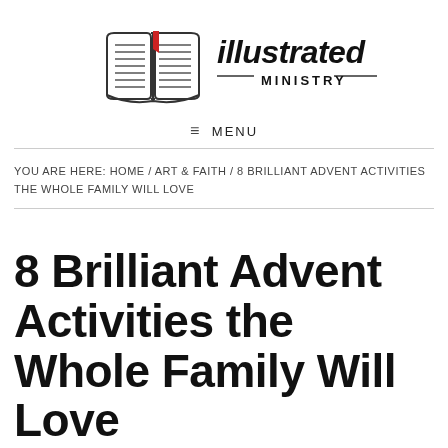[Figure (logo): Illustrated Ministry logo — open book illustration with red bookmark and stylized text 'illustrated MINISTRY']
≡  MENU
YOU ARE HERE: HOME / ART & FAITH / 8 BRILLIANT ADVENT ACTIVITIES THE WHOLE FAMILY WILL LOVE
8 Brilliant Advent Activities the Whole Family Will Love
ALISSA ELLETT —  LEAVE A COMMENT